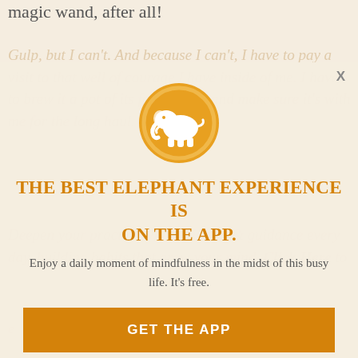magic wand, after all!
Gulp, but I can't. And because I can't, I have to pay a visit to that well of courage I have inside of me. I have to brew it a pot of its favorite tea and make sure it's with me for the long haul.
[Figure (illustration): Orange circle with white elephant silhouette logo]
THE BEST ELEPHANT EXPERIENCE IS ON THE APP.
Enjoy a daily moment of mindfulness in the midst of this busy life. It's free.
GET THE APP
OPEN IN APP